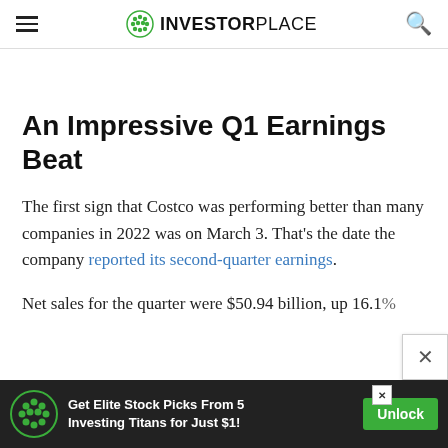INVESTORPLACE
An Impressive Q1 Earnings Beat
The first sign that Costco was performing better than many companies in 2022 was on March 3. That’s the date the company reported its second-quarter earnings.
Net sales for the quarter were $50.94 billion, up 16.1…
[Figure (screenshot): Advertisement banner: Get Elite Stock Picks From 5 Investing Titans for Just $1! with Unlock button]